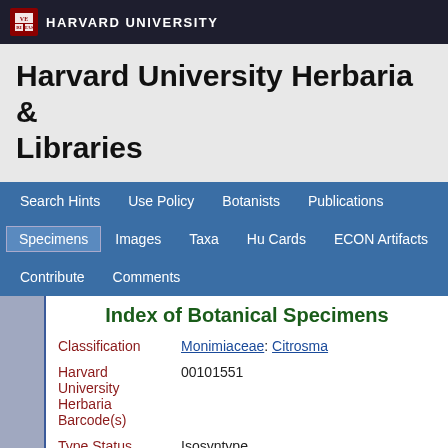HARVARD UNIVERSITY
Harvard University Herbaria & Libraries
Search Hints | Use Policy | Botanists | Publications | Specimens | Images | Taxa | Hu Cards | ECON Artifacts | Contribute | Comments
Index of Botanical Specimens
| Field | Value |
| --- | --- |
| Classification | Monimiaceae: Citrosma |
| Harvard University Herbaria Barcode(s) | 00101551 |
| Type Status | Isosyntype |
| Collector | George Gardner |
| Collector number | 2952 |
| Country | Brazil |